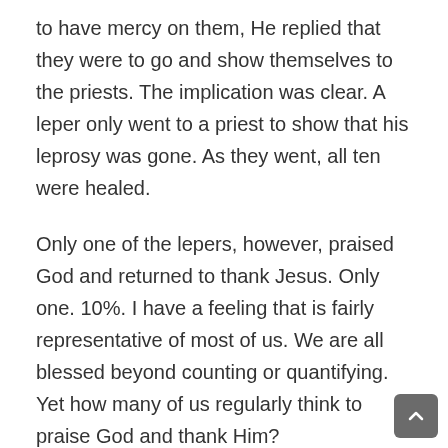to have mercy on them, He replied that they were to go and show themselves to the priests. The implication was clear. A leper only went to a priest to show that his leprosy was gone. As they went, all ten were healed.
Only one of the lepers, however, praised God and returned to thank Jesus. Only one. 10%. I have a feeling that is fairly representative of most of us. We are all blessed beyond counting or quantifying. Yet how many of us regularly think to praise God and thank Him?
In a very real way, we lack for nothing. I